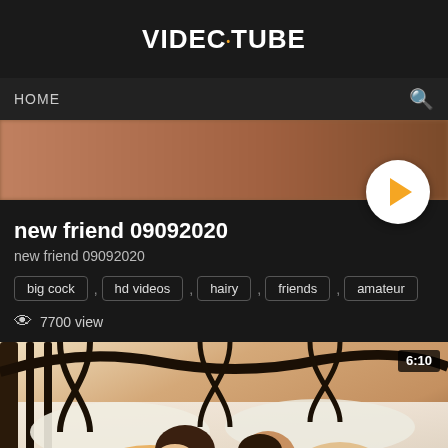VIDEC•TUBE
HOME
new friend 09092020
new friend 09092020
big cock , hd videos , hairy , friends , amateur
7700 view
[Figure (screenshot): Video thumbnail showing two people on a bed, duration badge showing 6:10]